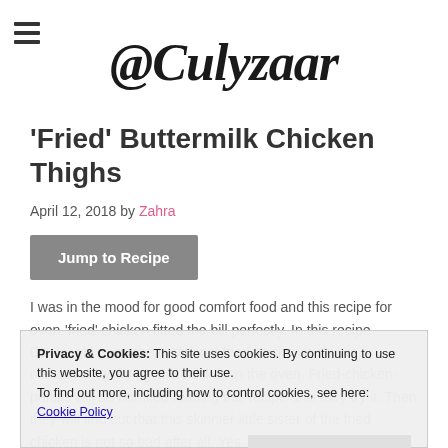@Culyzaar
'Fried' Buttermilk Chicken Thighs
April 12, 2018 by Zahra
Jump to Recipe
I was in the mood for good comfort food and this recipe for oven-'fried' chicken fitted the bill perfectly. In this recipe Ottolenghi gives the traditional fried chicken a skinny makeover by 'frying' the chicken in the oven. Fried-chicken-purists will be horrified reading this recipe until they try it. Then they will find out that this skinnier little sister of the fried chicken is not so bad after all. Yes, it's skinnier, easier and also very
Privacy & Cookies: This site uses cookies. By continuing to use this website, you agree to their use.
To find out more, including how to control cookies, see here: Cookie Policy
Close and accept